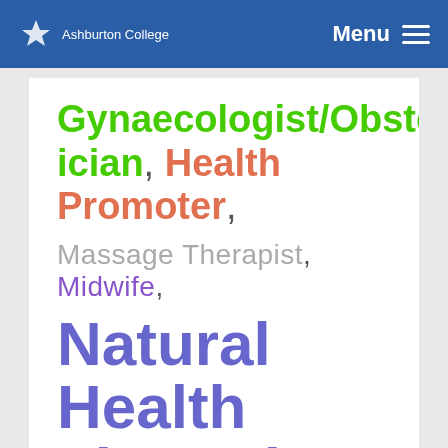Ashburton College | Menu
Gynaecologist/Obstetrician, Health Promoter, Massage Therapist, Midwife, Natural Health Therapist